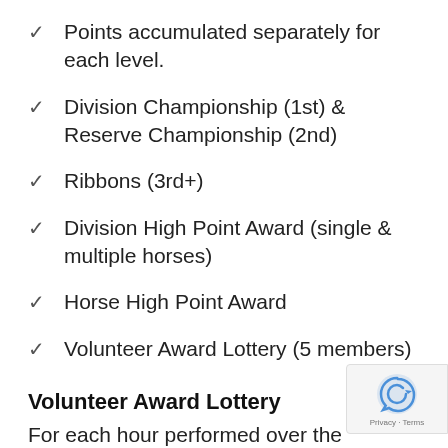Points accumulated separately for each level.
Division Championship (1st) & Reserve Championship (2nd)
Ribbons (3rd+)
Division High Point Award (single & multiple horses)
Horse High Point Award
Volunteer Award Lottery (5 members)
Volunteer Award Lottery
For each hour performed over the required amount, you will receive 1 entry into the